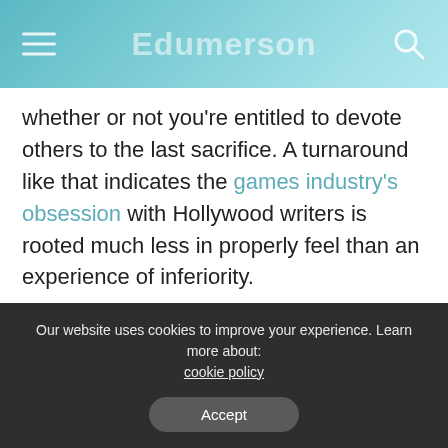Edumerson
whether or not you’re entitled to devote others to the last sacrifice. A turnaround like that indicates the games industry’s obsession with Hollywood writers is rooted much less in properly feel than an experience of inferiority.
[Figure (infographic): What’s your reaction? panel with 5 emoji faces: love, sad, haha, sleepy, angry]
Our website uses cookies to improve your experience. Learn more about: cookie policy
Accept